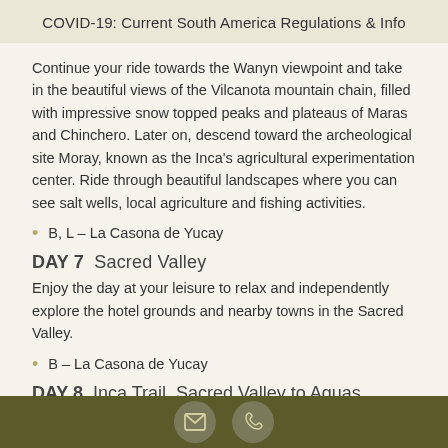COVID-19: Current South America Regulations & Info
Continue your ride towards the Wanyn viewpoint and take in the beautiful views of the Vilcanota mountain chain, filled with impressive snow topped peaks and plateaus of Maras and Chinchero. Later on, descend toward the archeological site Moray, known as the Inca's agricultural experimentation center. Ride through beautiful landscapes where you can see salt wells, local agriculture and fishing activities.
B, L – La Casona de Yucay
DAY 7  Sacred Valley
Enjoy the day at your leisure to relax and independently explore the hotel grounds and nearby towns in the Sacred Valley.
B – La Casona de Yucay
DAY 8  Inca Trail, Sacred Valley to Aguas...